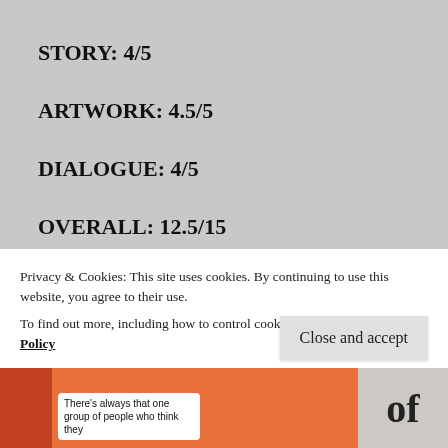STORY: 4/5
ARTWORK: 4.5/5
DIALOGUE: 4/5
OVERALL: 12.5/15
MS MARVEL: GENERATION WHY
Privacy & Cookies: This site uses cookies. By continuing to use this website, you agree to their use. To find out more, including how to control cookies, see here: Cookie Policy
Close and accept
[Figure (illustration): Partial comic book panel showing a character, with a speech bubble reading 'There's always that one group of people who think they', and a partial word 'of' on the right]